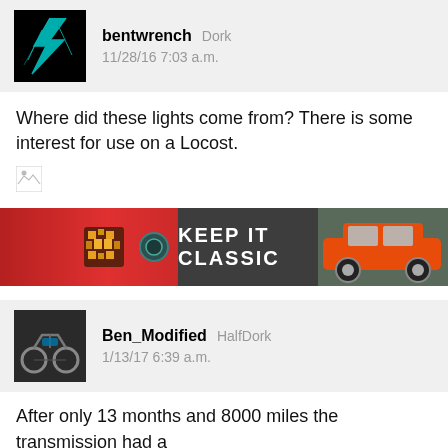bentwrench Dork 11/28/16 7:03 a.m.
Where did these lights come from? There is some interest for use on a Locost.
[Figure (other): Broken image placeholder]
[Figure (other): Advertisement banner reading KEEP IT CLASSIC with a red muscle car on the right and red/orange decorative element on the left]
Ben_Modified HalfDork 1/13/17 6:39 a.m.
After only 13 months and 8000 miles the transmission had a